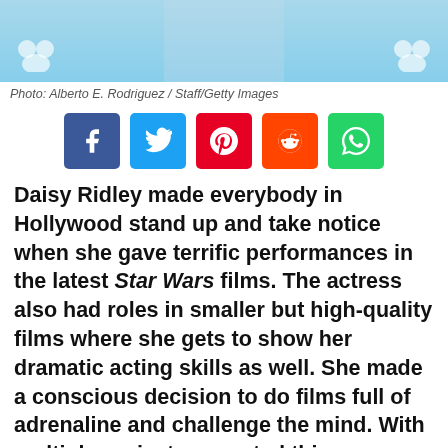[Figure (photo): Photo of a person in front of a light blue background with Mickey Mouse ear icons on the sides]
Photo: Alberto E. Rodriguez / Staff/Getty Images
[Figure (infographic): Social media share buttons: Facebook, Twitter, Pinterest, Reddit, WhatsApp]
Daisy Ridley made everybody in Hollywood stand up and take notice when she gave terrific performances in the latest Star Wars films. The actress also had roles in smaller but high-quality films where she gets to show her dramatic acting skills as well. She made a conscious decision to do films full of adrenaline and challenge the mind. With multiple projects expected this year also we can expect to see even more of her!